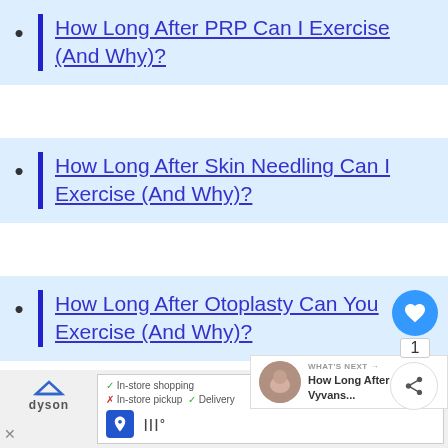How Long After PRP Can I Exercise (And Why)?
How Long After Skin Needling Can I Exercise (And Why)?
How Long After Otoplasty Can You Exercise (And Why)?
[Figure (screenshot): Floating UI: heart/like button (blue circle with heart icon), count badge showing '1', and share button (circle with share icon)]
[Figure (screenshot): What's Next panel showing thumbnail image and text 'How Long After Vyvans...' with arrow]
[Figure (screenshot): Advertisement banner showing Dyson brand with in-store shopping checkmark, in-store pickup cross, Delivery checkmark, navigation icon and logo]